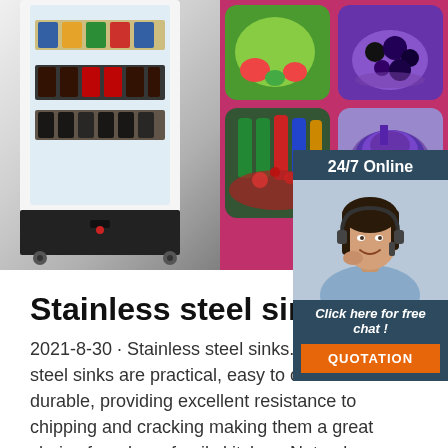[Figure (photo): Top banner with a beverage refrigerator/vending machine on the left side and a food collage panel on the right showing vegetables, berries, colorful bottles/drinks, and a pastry/dessert on a magenta background.]
[Figure (infographic): 24/7 Online chat widget with a customer service agent photo, 'Click here for free chat!' text, and an orange QUOTATION button.]
[Figure (illustration): Orange dotted TOP button with upward arrow.]
Stainless steel sinks
2021-8-30 · Stainless steel sinks. Stainless steel sinks are practical, easy to clean and durable, providing excellent resistance to chipping and cracking making them a great choice for a busy family kitchen. Not only are stainless steel sinks an affordable option but